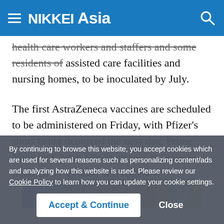NIKKEI Asia
health care workers and staffers and some residents of assisted care facilities and nursing homes, to be inoculated by July.
The first AstraZeneca vaccines are scheduled to be administered on Friday, with Pfizer's shots being deployed the next day, Prime Minister Chung Sye-kyun said in remarks reported by Yonhap news agency.
[Figure (photo): Partial view of an image with blue, pink and orange gradient tones, partially visible at the bottom of the article area.]
By continuing to browse this website, you accept cookies which are used for several reasons such as personalizing content/ads and analyzing how this website is used. Please review our Cookie Policy to learn how you can update your cookie settings.